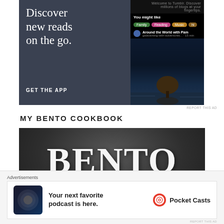[Figure (screenshot): Tumblr app advertisement banner showing 'Discover new reads on the go.' with GET THE APP call-to-action and a phone screenshot showing blog recommendations]
REPORT THIS AD
MY BENTO COOKBOOK
[Figure (photo): Book cover image for 'BENTO for BEGINNERS' with large distressed white text on dark background]
[Figure (photo): Pocket Casts advertisement: 'Your next favorite podcast is here.' with Pocket Casts logo]
REPORT THIS AD
Advertisements